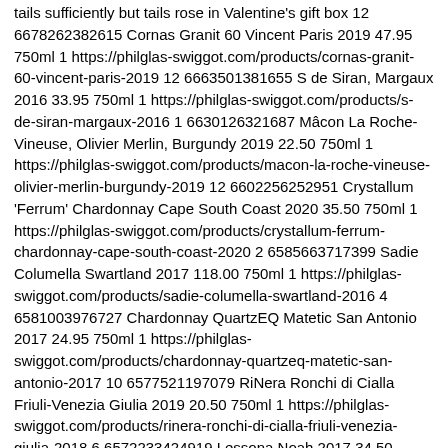tails sufficiently but tails rose in Valentine's gift box 12 6678262382615 Cornas Granit 60 Vincent Paris 2019 47.95 750ml 1 https://philglas-swiggot.com/products/cornas-granit-60-vincent-paris-2019 12 6663501381655 S de Siran, Margaux 2016 33.95 750ml 1 https://philglas-swiggot.com/products/s-de-siran-margaux-2016 1 6630126321687 Mâcon La Roche-Vineuse, Olivier Merlin, Burgundy 2019 22.50 750ml 1 https://philglas-swiggot.com/products/macon-la-roche-vineuse-olivier-merlin-burgundy-2019 12 6602256252951 Crystallum 'Ferrum' Chardonnay Cape South Coast 2020 35.50 750ml 1 https://philglas-swiggot.com/products/crystallum-ferrum-chardonnay-cape-south-coast-2020 2 6585663717399 Sadie Columella Swartland 2017 118.00 750ml 1 https://philglas-swiggot.com/products/sadie-columella-swartland-2016 4 6581003976727 Chardonnay QuartzEQ Matetic San Antonio 2017 24.95 750ml 1 https://philglas-swiggot.com/products/chardonnay-quartzeq-matetic-san-antonio-2017 10 6577521197079 RiNera Ronchi di Cialla Friuli-Venezia Giulia 2019 20.50 750ml 1 https://philglas-swiggot.com/products/rinera-ronchi-di-cialla-friuli-venezia-giulia-2018 6 6572233424919 Lessona Noah 2017 34.50 750ml 1 https://philglas-swiggot.com/products/lessona-noah-2017 12 6572233326615 Albariño Bodega Garzón Uruguay 2021 19.95 750ml 1 https://philglas-swiggot.com/products/albarino-bodega-garzon-uruguay-2019 3 6553183158295 Brunello di Montalcino Castello Romitorio 2016 69.50 750ml 1 https://philglas-swiggot.com/products/brunello-di-montalcino-castello-romitorio-